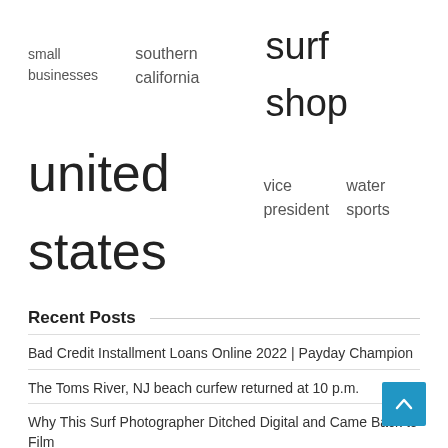small businesses   southern california   surf shop
united states   vice president   water sports
Recent Posts
Bad Credit Installment Loans Online 2022 | Payday Champion
The Toms River, NJ beach curfew returned at 10 p.m.
Why This Surf Photographer Ditched Digital and Came Back to Film
Venice, Italy, fines Australian tourists for riding a motorized surfboard in the city
Chef Jose Garces expands the Buena Onda taqueria
Is Santa Monica's Main Street suddenly the coolest place to eat in LA?